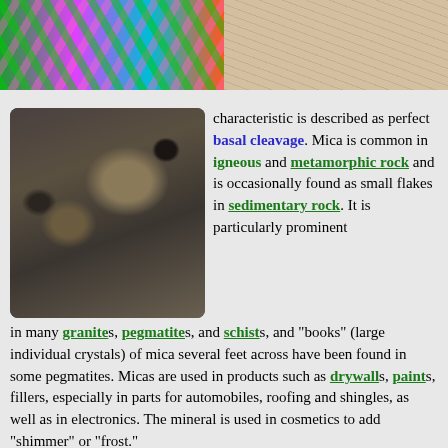[Figure (photo): Two microscopic images at top: left shows colorful birefringent mineral crystals in green, pink, blue, orange hues; right shows a beige/tan mineral texture with dark veining patterns.]
[Figure (photo): Photograph of mica mineral specimens on a dark gray background, showing several dark and light-colored rock fragments with layered structure.]
characteristic is described as perfect basal cleavage. Mica is common in igneous and metamorphic rock and is occasionally found as small flakes in sedimentary rock. It is particularly prominent in many granites, pegmatites, and schists, and "books" (large individual crystals) of mica several feet across have been found in some pegmatites. Micas are used in products such as drywalls, paints, fillers, especially in parts for automobiles, roofing and shingles, as well as in electronics. The mineral is used in cosmetics to add "shimmer" or "frost."